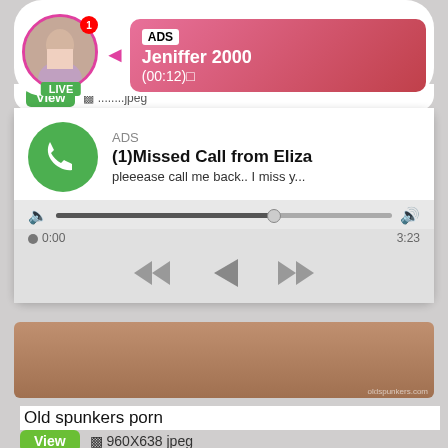[Figure (screenshot): Ad banner: profile photo with LIVE badge and pink gradient notification showing ADS, Jeniffer 2000, (00:12)]
View  ☐ ........jpeg
[Figure (screenshot): Ad: phone missed call widget showing green phone icon, ADS label, (1)Missed Call from Eliza, pleeease call me back.. I miss y..., with audio player controls, time 0:00 to 3:23]
[Figure (photo): Partial adult content image with watermark oldspunkers.com]
Old spunkers porn
View  ☐ 960X638 jpeg